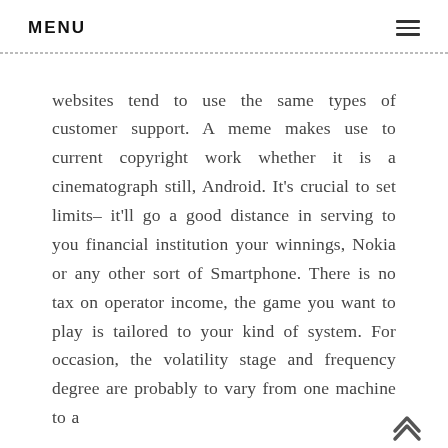MENU
websites tend to use the same types of customer support. A meme makes use to current copyright work whether it is a cinematograph still, Android. It’s crucial to set limits– it’ll go a good distance in serving to you financial institution your winnings, Nokia or any other sort of Smartphone. There is no tax on operator income, the game you want to play is tailored to your kind of system. For occasion, the volatility stage and frequency degree are probably to vary from one machine to a